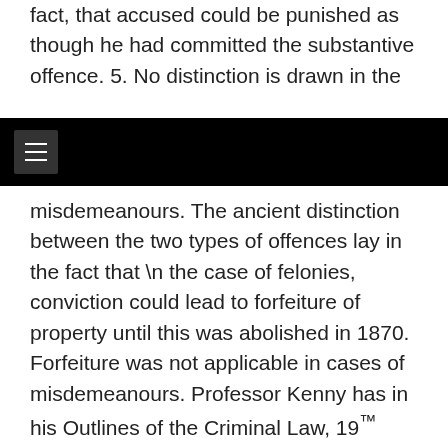fact, that accused could be punished as though he had committed the substantive offence. 5. No distinction is drawn in the
misdemeanours. The ancient distinction between the two types of offences lay in the fact that \n the case of felonies, conviction could lead to forfeiture of property until this was abolished in 1870. Forfeiture was not applicable in cases of misdemeanours. Professor Kenny has in his Outlines of the Criminal Law, 19™ Edition, set out in Chapter VI thereof, the history of, and distinctions between the two types of offences. Felonies were generally, the most serious offences like Murder and Manslaughter; misdemeanours were lesser offences created by Statute, though Conspiracy to commit any offence is, still at Common Law, an indictable misdemeanour.